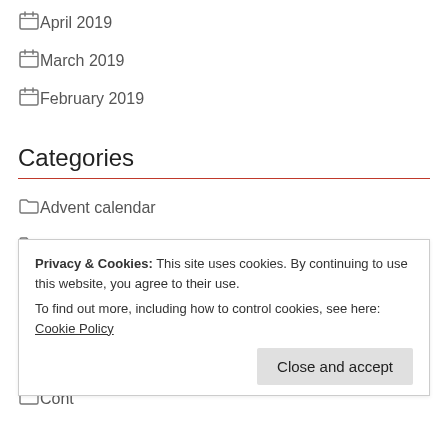April 2019
March 2019
February 2019
Categories
Advent calendar
Animals
Beanies
Birthday
Birthday cakes
Cards
Privacy & Cookies: This site uses cookies. By continuing to use this website, you agree to their use.
To find out more, including how to control cookies, see here: Cookie Policy
Cont...